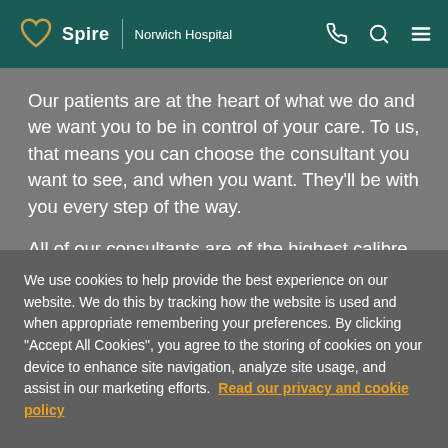Spire | Norwich Hospital
Our patients are at the heart of what we do and we want you to be in control of your care. To us, that means you can choose the consultant you want to see, and when you want. They'll be with you every step of the way.
All of our consultants are of the highest calibre and benefit from working in our modern, well-equipped
We use cookies to help provide the best experience on our website. We do this by tracking how the website is used and when appropriate remembering your preferences. By clicking "Accept All Cookies", you agree to the storing of cookies on your device to enhance site navigation, analyze site usage, and assist in our marketing efforts. Read our privacy and cookie policy
Cookies Settings | Accept All Cookies